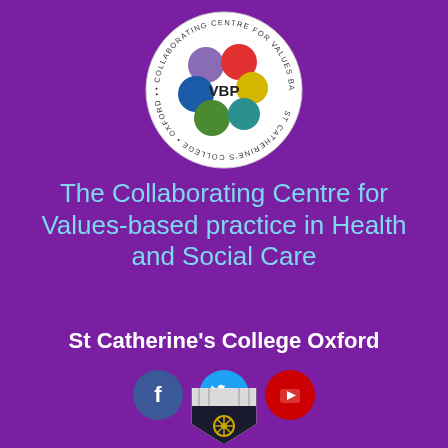[Figure (logo): VBP Collaborating Centre for Values Based Practice in Health and Social Care circular logo with coloured circles (red, yellow, green, teal, blue, purple) arranged in a ring pattern on white background]
The Collaborating Centre for Values-based practice in Health and Social Care
St Catherine's College Oxford
[Figure (infographic): Three social media icons in circles: Facebook (dark blue), Twitter (light blue), YouTube (red)]
[Figure (logo): St Catherine's College Oxford crest/shield logo with black, white and gold design at bottom of page]